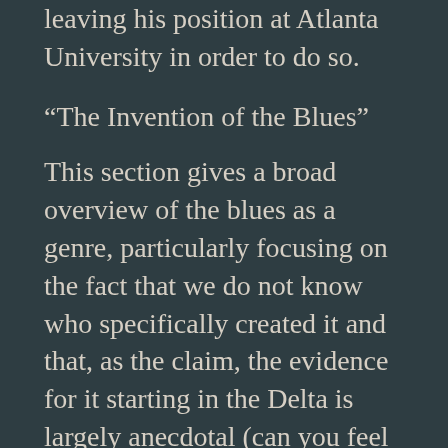leaving his position at Atlanta University in order to do so.
“The Invention of the Blues”
This section gives a broad overview of the blues as a genre, particularly focusing on the fact that we do not know who specifically created it and that, as the claim, the evidence for it starting in the Delta is largely anecdotal (can you feel my skepticism yet at this entry?). The entry includes W.C. Handy’s description of the first time he heard the blues and Ma Rainey’s description of the first time she heard it. They also discuss Samuel Charters being the first person to write a book on the subject, Country Blues, and how folklorists such as the